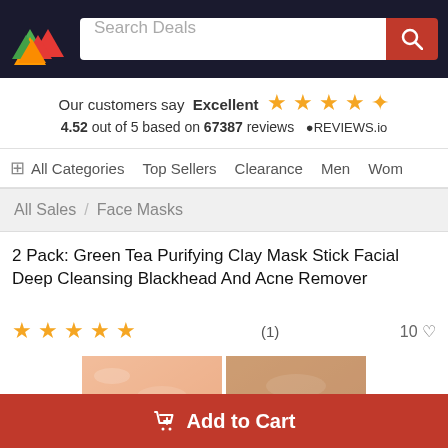Search Deals header bar with logo and search box
Our customers say Excellent ★★★★½ 4.52 out of 5 based on 67387 reviews ⊕REVIEWS.io
⊞ All Categories  Top Sellers  Clearance  Men  Wom
All Sales / Face Masks
2 Pack: Green Tea Purifying Clay Mask Stick Facial Deep Cleansing Blackhead And Acne Remover
★★★★★ (1)   10 ♡
[Figure (photo): Two product images of clay mask stick packaging, pinkish-orange colored surfaces]
Add to Cart